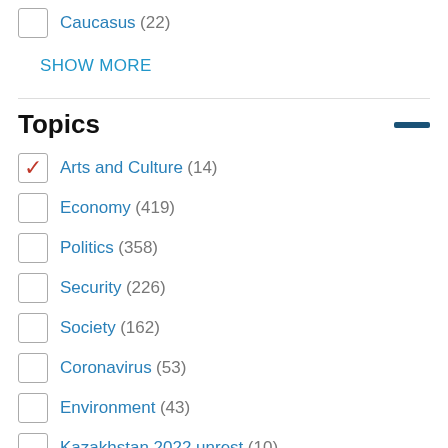Caucasus (22)
SHOW MORE
Topics
Arts and Culture (14)
Economy (419)
Politics (358)
Security (226)
Society (162)
Coronavirus (53)
Environment (43)
Kazakhstan 2022 unrest (10)